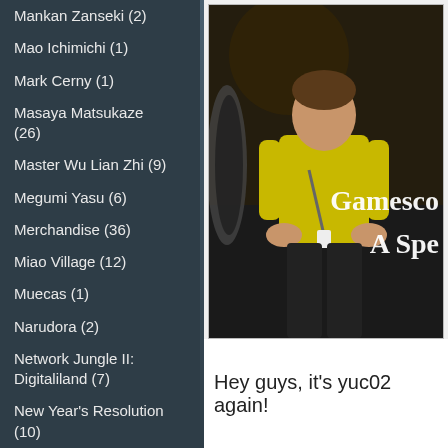Mankan Zanseki (2)
Mao Ichimichi (1)
Mark Cerny (1)
Masaya Matsukaze (26)
Master Wu Lian Zhi (9)
Megumi Yasu (6)
Merchandise (36)
Miao Village (12)
Muecas (1)
Narudora (2)
Network Jungle II: Digitaliland (7)
New Year's Resolution (10)
[Figure (photo): A person in a yellow t-shirt at Gamescom event with text overlay reading 'Gamescom A Spe...']
Hey guys, it's yuc02 again!